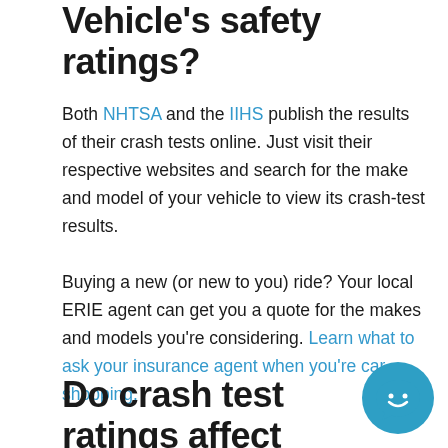Vehicle's safety ratings?
Both NHTSA and the IIHS publish the results of their crash tests online. Just visit their respective websites and search for the make and model of your vehicle to view its crash-test results.
Buying a new (or new to you) ride? Your local ERIE agent can get you a quote for the makes and models you're considering. Learn what to ask your insurance agent when you're car shopping.
Do crash test ratings affect your car
[Figure (illustration): Blue circular chat bubble icon with a smiley face in the bottom right corner of the page]